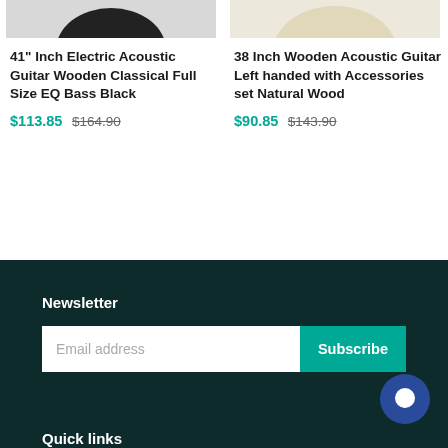[Figure (photo): Partial top image of a black electric acoustic guitar on white/grey background]
41" Inch Electric Acoustic Guitar Wooden Classical Full Size EQ Bass Black
$113.85  $164.90
[Figure (photo): Partial top image of a cream/natural wooden acoustic guitar on white background]
38 Inch Wooden Acoustic Guitar Left handed with Accessories set Natural Wood
$90.85  $143.90
Newsletter
Email address
Subscribe
Quick links